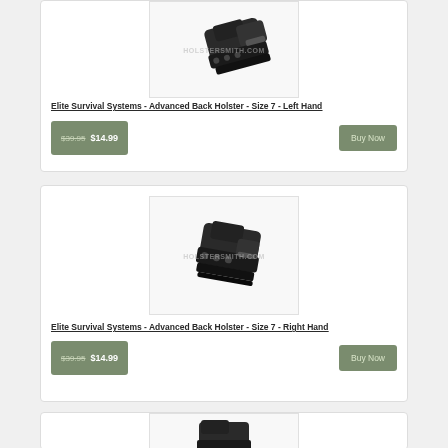[Figure (photo): Elite Survival Systems Advanced Back Holster Size 7 Left Hand product photo with holstersmith.com watermark]
Elite Survival Systems - Advanced Back Holster - Size 7 - Left Hand
$39.95  $14.99
Buy Now
[Figure (photo): Elite Survival Systems Advanced Back Holster Size 7 Right Hand product photo with holstersmith.com watermark]
Elite Survival Systems - Advanced Back Holster - Size 7 - Right Hand
$39.95  $14.99
Buy Now
[Figure (photo): Partial view of another Elite Survival Systems holster product at bottom of page]